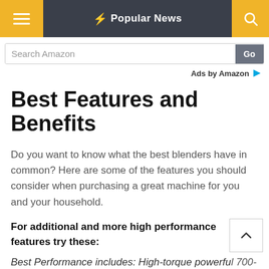Popular News
Search Amazon
Ads by Amazon
Best Features and Benefits
Do you want to know what the best blenders have in common? Here are some of the features you should consider when purchasing a great machine for you and your household.
For additional and more high performance features try these:
Best Performance includes: High-torque powerful 700-